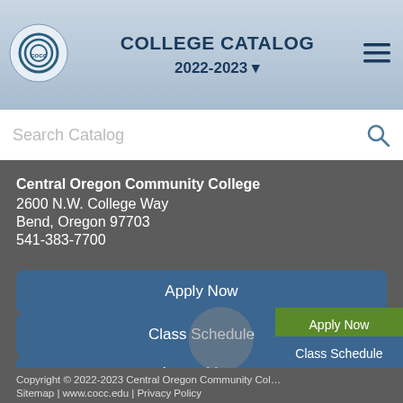COLLEGE CATALOG 2022-2023
Search Catalog
Central Oregon Community College
2600 N.W. College Way
Bend, Oregon 97703
541-383-7700
Apply Now
Class Schedule
Learn More
Copyright © 2022-2023 Central Oregon Community College
Sitemap | www.cocc.edu | Privacy Policy